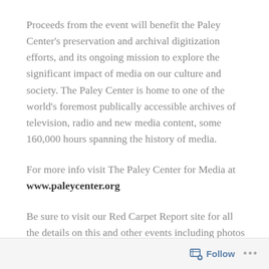Proceeds from the event will benefit the Paley Center's preservation and archival digitization efforts, and its ongoing mission to explore the significant impact of media on our culture and society. The Paley Center is home to one of the world's foremost publically accessible archives of television, radio and new media content, some 160,000 hours spanning the history of media.
For more info visit The Paley Center for Media at www.paleycenter.org
Be sure to visit our Red Carpet Report site for all the details on this and other events including photos and interviews here at www.redcarpetreporttv.com.
For more of Mingle Media TV's Red Carpet Report
Follow ...